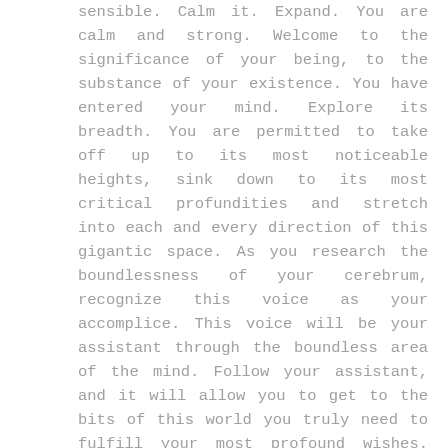sensible. Calm it. Expand. You are calm and strong. Welcome to the significance of your being, to the substance of your existence. You have entered your mind. Explore its breadth. You are permitted to take off up to its most noticeable heights, sink down to its most critical profundities and stretch into each and every direction of this gigantic space. As you research the boundlessness of your cerebrum, recognize this voice as your accomplice. This voice will be your assistant through the boundless area of the mind. Follow your assistant, and it will allow you to get to the bits of this world you truly need to fulfill your most profound wishes. Here, you can remove liability and fear from your cerebrum. You will discard anything that keeps your mind away from understanding the certifiable boundlessness of its chance. Notice a point in this tremendous stretch of sky and permit it to wander into a globe of warm, superb energy. This warm, shining circle is the point of convergence of your contemplations and sentiments. It is the generator of your